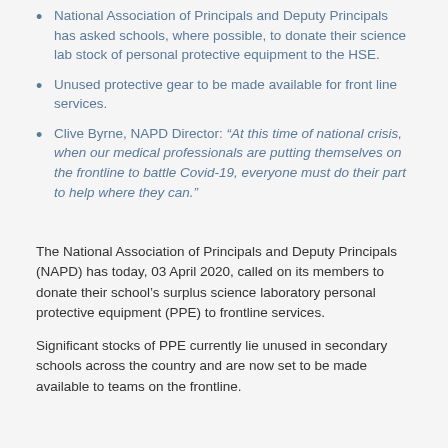National Association of Principals and Deputy Principals has asked schools, where possible, to donate their science lab stock of personal protective equipment to the HSE.
Unused protective gear to be made available for front line services.
Clive Byrne, NAPD Director: “At this time of national crisis, when our medical professionals are putting themselves on the frontline to battle Covid-19, everyone must do their part to help where they can.”
The National Association of Principals and Deputy Principals (NAPD) has today, 03 April 2020, called on its members to donate their school’s surplus science laboratory personal protective equipment (PPE) to frontline services.
Significant stocks of PPE currently lie unused in secondary schools across the country and are now set to be made available to teams on the frontline.